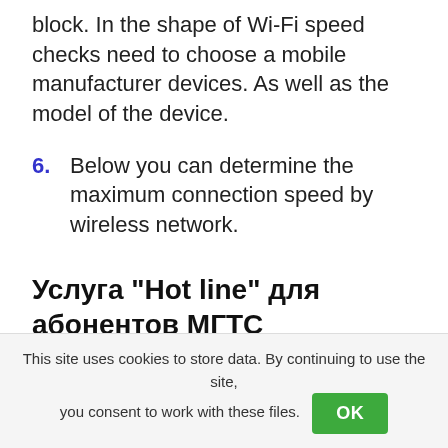block. In the shape of Wi-Fi speed checks need to choose a mobile manufacturer devices. As well as the model of the device.
6. Below you can determine the maximum connection speed by wireless network.
Услуга “Hot line” для абонентов МГТС
This site uses cookies to store data. By continuing to use the site, you consent to work with these files. OK